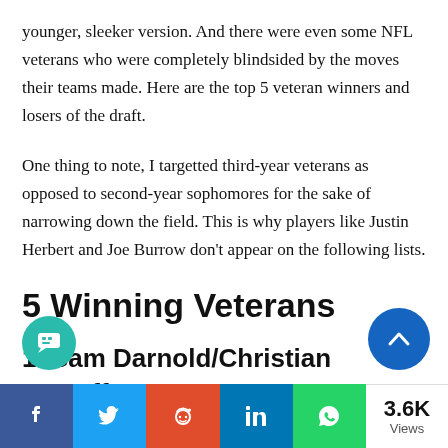younger, sleeker version. And there were even some NFL veterans who were completely blindsided by the moves their teams made. Here are the top 5 veteran winners and losers of the draft.
One thing to note, I targetted third-year veterans as opposed to second-year sophomores for the sake of narrowing down the field. This is why players like Justin Herbert and Joe Burrow don't appear on the following lists.
5 Winning Veterans
1. Sam Darnold/Christian McCaffrey – Carolina Panthers